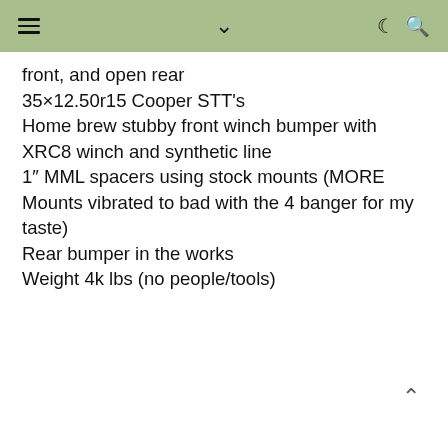Navigation bar with menu, dropdown, dark mode, and search icons
front, and open rear
35×12.50r15 Cooper STT's
Home brew stubby front winch bumper with XRC8 winch and synthetic line
1″ MML spacers using stock mounts (MORE Mounts vibrated to bad with the 4 banger for my taste)
Rear bumper in the works
Weight 4k lbs (no people/tools)